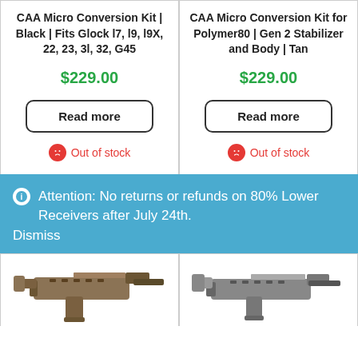CAA Micro Conversion Kit | Black | Fits Glock l7, l9, l9X, 22, 23, 3l, 32, G45
$229.00
Read more
Out of stock
CAA Micro Conversion Kit for Polymer80 | Gen 2 Stabilizer and Body | Tan
$229.00
Read more
Out of stock
Attention: No returns or refunds on 80% Lower Receivers after July 24th.
Dismiss
[Figure (photo): CAA Micro Conversion Kit firearm, dark/tan colored, with pistol installed, left column]
[Figure (photo): CAA Micro Conversion Kit firearm, gray colored, with pistol installed, right column]